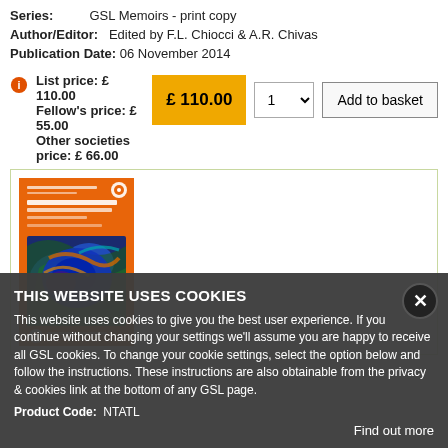Series: GSL Memoirs - print copy
Author/Editor: Edited by F.L. Chiocci & A.R. Chivas
Publication Date: 06 November 2014
List price: £ 110.00
Fellow's price: £ 55.00
Other societies price: £ 66.00
[Figure (photo): Book cover of 'Continental Shelves of the World' published by Geological Society of London, orange cover with ocean floor map image]
THIS WEBSITE USES COOKIES
This website uses cookies to give you the best user experience. If you continue without changing your settings we'll assume you are happy to receive all GSL cookies. To change your cookie settings, select the option below and follow the instructions. These instructions are also obtainable from the privacy & cookies link at the bottom of any GSL page.
Product Code: NTATL
Find out more